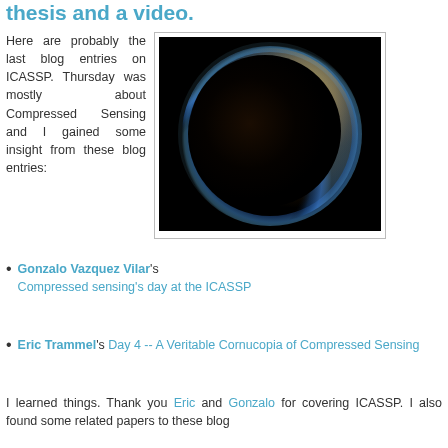thesis and a video.
Here are probably the last blog entries on ICASSP. Thursday was mostly about Compressed Sensing and I gained some insight from these blog entries:
[Figure (photo): A photograph of a planet (likely Titan) against a black background, showing a glowing blue-gold atmospheric haze around the curved limb of the planet.]
Gonzalo Vazquez Vilar's Compressed sensing's day at the ICASSP
Eric Trammel's Day 4 -- A Veritable Cornucopia of Compressed Sensing
I learned things. Thank you Eric and Gonzalo for covering ICASSP. I also found some related papers to these blog